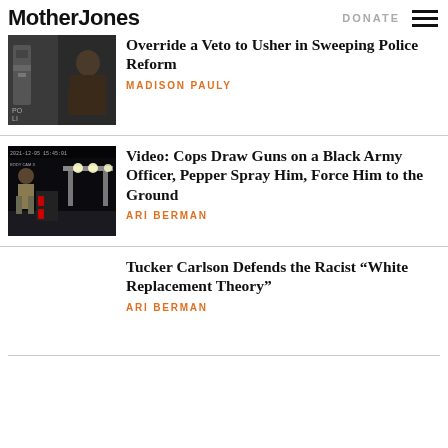Mother Jones | DONATE
[Figure (photo): Photo of police officer with equipment, partial view cropped at top]
Override a Veto to Usher in Sweeping Police Reform
MADISON PAULY
[Figure (photo): Night video still of a gas station showing a Black Army officer being confronted by police, body cam timestamp visible]
Video: Cops Draw Guns on a Black Army Officer, Pepper Spray Him, Force Him to the Ground
ARI BERMAN
Tucker Carlson Defends the Racist “White Replacement Theory”
ARI BERMAN